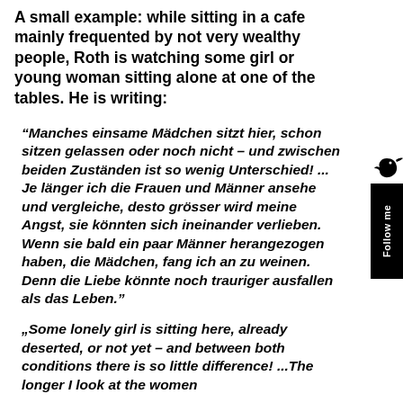A small example: while sitting in a cafe mainly frequented by not very wealthy people, Roth is watching some girl or young woman sitting alone at one of the tables. He is writing:
“Manches einsame Mädchen sitzt hier, schon sitzen gelassen oder noch nicht – und zwischen beiden Zuständen ist so wenig Unterschied! ... Je länger ich die Frauen und Männer ansehe und vergleiche, desto grösser wird meine Angst, sie könnten sich ineinander verlieben. Wenn sie bald ein paar Männer herangezogen haben, die Mädchen, fang ich an zu weinen. Denn die Liebe könnte noch trauriger ausfallen als das Leben.”
„Some lonely girl is sitting here, already deserted, or not yet – and between both conditions there is so little difference! ...The longer I look at the women